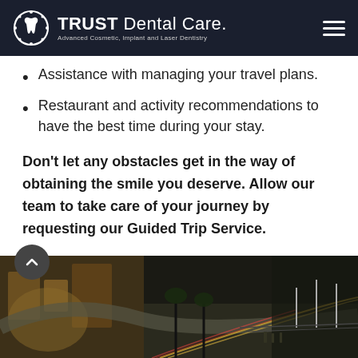TRUST Dental Care. Advanced Cosmetic, Implant and Laser Dentistry
Assistance with managing your travel plans.
Restaurant and activity recommendations to have the best time during your stay.
Don't let any obstacles get in the way of obtaining the smile you deserve. Allow our team to take care of your journey by requesting our Guided Trip Service.
[Figure (photo): Nighttime aerial/street view of a city intersection with light trails from traffic, palm trees, and circular road structure.]